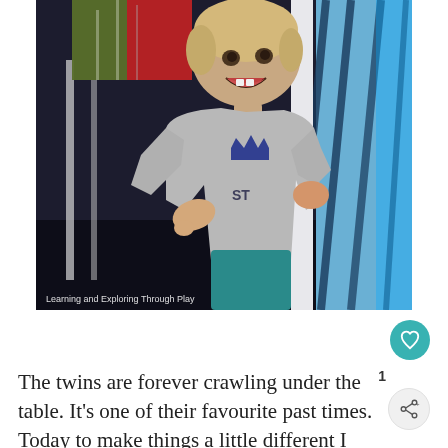[Figure (photo): A smiling toddler in a gray long-sleeve shirt with a crown design, peeking between colorful curtains or blankets. Watermark reads 'Learning and Exploring Through Play' in the bottom left corner.]
The twins are forever crawling under the table. It's one of their favourite past times. Today to make things a little different I draped blankets over the